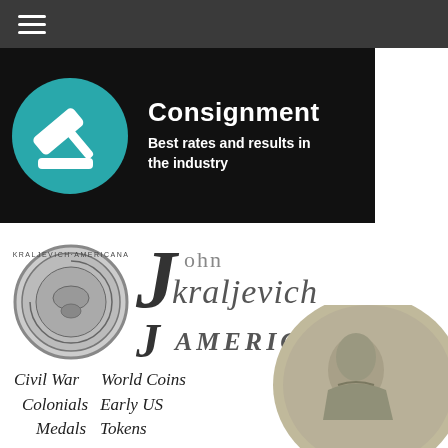≡ (hamburger menu)
[Figure (infographic): Consignment banner with gavel/auction hammer icon in teal circle on black background. Text: 'Consignment — Best rates and results in the industry']
[Figure (logo): John Kraljevich Americana logo with circular coin medallion and stylized JK text with 'John', 'Kraljevich', 'AMERICANA' text]
Civil War   World Coins
Colonials   Early US
Medals   Tokens
Paper Money
[Figure (photo): Large silver medal/coin showing profile portrait of a man in military uniform, bottom right of page]